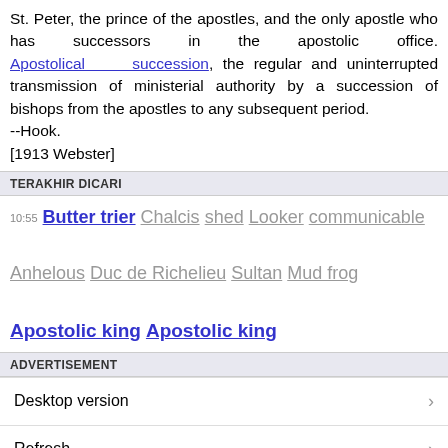St. Peter, the prince of the apostles, and the only apostle who has successors in the apostolic office. Apostolical succession, the regular and uninterrupted transmission of ministerial authority by a succession of bishops from the apostles to any subsequent period.
--Hook.
[1913 Webster]
TERAKHIR DICARI
10:55 Butter trier Chalcis shed Looker communicable Anhelous Duc de Richelieu Sultan Mud frog Apostolic king Apostolic king
ADVERTISEMENT
Desktop version
Refresh